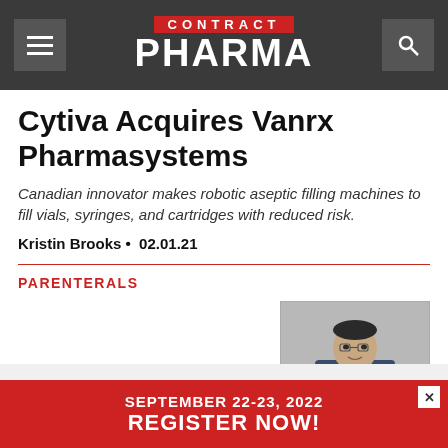CONTRACT PHARMA
Cytiva Acquires Vanrx Pharmasystems
Canadian innovator makes robotic aseptic filling machines to fill vials, syringes, and cartridges with reduced risk.
Kristin Brooks • 02.01.21
PARENTERALS
[Figure (photo): Portrait photo of a man in a suit, partially visible on the right side of the page]
SEPTEMBER 22-23, 2022
REGISTER NOW!